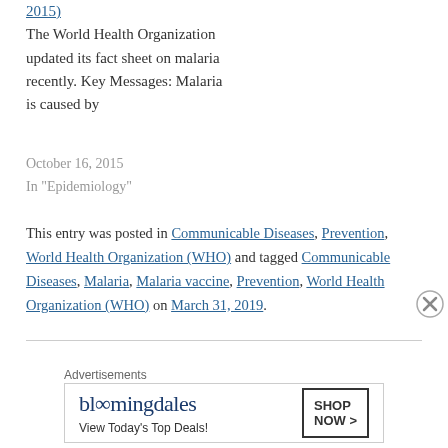2015)
The World Health Organization updated its fact sheet on malaria recently. Key Messages: Malaria is caused by
October 16, 2015
In "Epidemiology"
This entry was posted in Communicable Diseases, Prevention, World Health Organization (WHO) and tagged Communicable Diseases, Malaria, Malaria vaccine, Prevention, World Health Organization (WHO) on March 31, 2019.
[Figure (other): Bloomingdale's advertisement banner with logo, tagline 'View Today's Top Deals!' and 'SHOP NOW >' button]
Advertisements